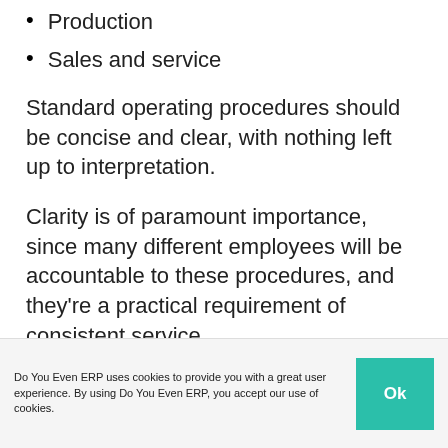Production
Sales and service
Standard operating procedures should be concise and clear, with nothing left up to interpretation.
Clarity is of paramount importance, since many different employees will be accountable to these procedures, and they’re a practical requirement of consistent service.
Do You Even ERP uses cookies to provide you with a great user experience. By using Do You Even ERP, you accept our use of cookies.